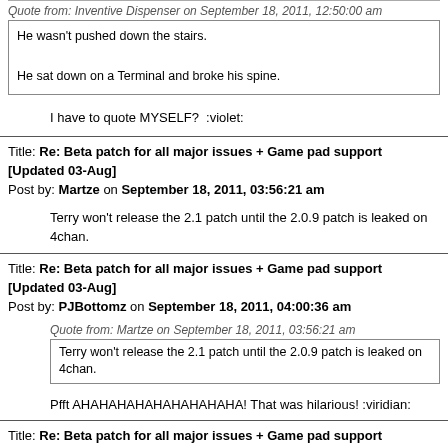Quote from: Inventive Dispenser on September 18, 2011, 12:50:00 am
He wasn't pushed down the stairs.

He sat down on a Terminal and broke his spine.
I have to quote MYSELF?  :violet:
Title: Re: Beta patch for all major issues + Game pad support [Updated 03-Aug]
Post by: Martze on September 18, 2011, 03:56:21 am
Terry won't release the 2.1 patch until the 2.0.9 patch is leaked on 4chan.
Title: Re: Beta patch for all major issues + Game pad support [Updated 03-Aug]
Post by: PJBottomz on September 18, 2011, 04:00:36 am
Quote from: Martze on September 18, 2011, 03:56:21 am
Terry won't release the 2.1 patch until the 2.0.9 patch is leaked on 4chan.
Pfft AHAHAHAHAHAHAHAHAHA! That was hilarious! :viridian:
Title: Re: Beta patch for all major issues + Game pad support [Updated 03-Aug]
Post by: Dispensers Heal on September 18, 2011, 04:15:12 am